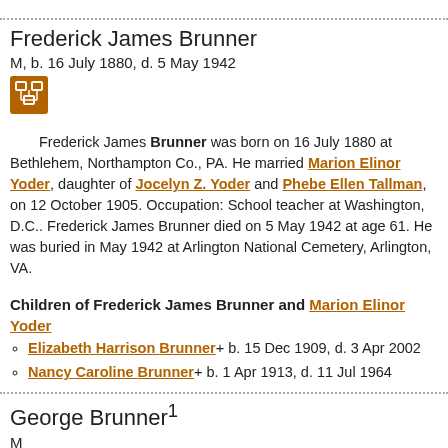Frederick James Brunner
M, b. 16 July 1880, d. 5 May 1942
[Figure (icon): Family tree icon button in orange/brown square]
Frederick James Brunner was born on 16 July 1880 at Bethlehem, Northampton Co., PA. He married Marion Elinor Yoder, daughter of Jocelyn Z. Yoder and Phebe Ellen Tallman, on 12 October 1905. Occupation: School teacher at Washington, D.C.. Frederick James Brunner died on 5 May 1942 at age 61. He was buried in May 1942 at Arlington National Cemetery, Arlington, VA.
Children of Frederick James Brunner and Marion Elinor Yoder
Elizabeth Harrison Brunner+ b. 15 Dec 1909, d. 3 Apr 2002
Nancy Caroline Brunner+ b. 1 Apr 1913, d. 11 Jul 1964
George Brunner1
M
[Figure (icon): Family tree icon button in orange/brown square]